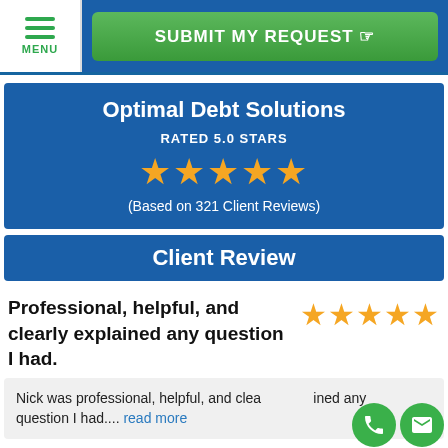[Figure (screenshot): Top navigation bar with hamburger menu icon labeled MENU and a green Submit My Request button]
Optimal Debt Solutions
RATED 5.0 STARS
[Figure (other): 5 gold stars rating]
(Based on 321 Client Reviews)
Client Review
Professional, helpful, and clearly explained any question I had.
[Figure (other): 5 gold stars for client review]
Nick was professional, helpful, and clearly explained any question I had.... read more